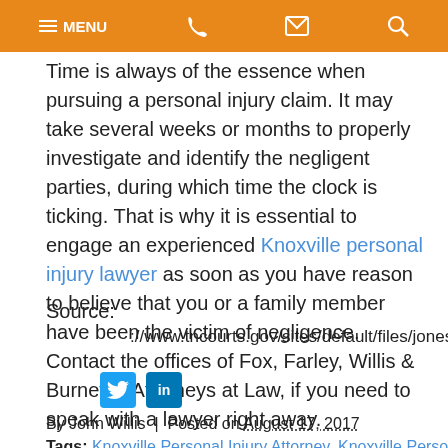MENU [phone] [email] [search]
Time is always of the essence when pursuing a personal injury claim. It may take several weeks or months to properly investigate and identify the negligent parties, during which time the clock is ticking. That is why it is essential to engage an experienced Knoxville personal injury lawyer as soon as you have reason to believe that you or a family member have been the victim of negligence. Contact the offices of Fox, Farley, Willis & Burnette, Attorneys at Law, if you need to speak with a lawyer right away.
Source:
http://www.tncourts.gov/sites/default/files/joneslorese
By John Willis | Posted on August 17, 2017
Tags: Knoxville Personal Injury Attorney, Knoxville Personal